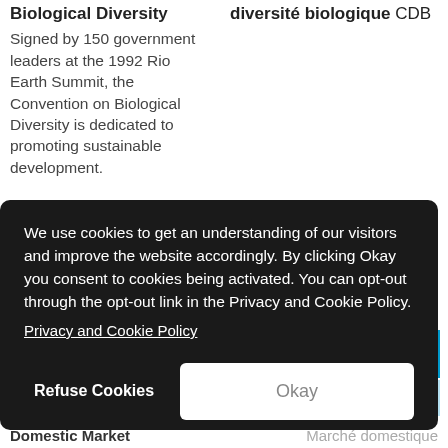Biological Diversity
Signed by 150 government leaders at the 1992 Rio Earth Summit, the Convention on Biological Diversity is dedicated to promoting sustainable development.
diversité biologique CDB
We use cookies to get an understanding of our visitors and improve the website accordingly. By clicking Okay you consent to cookies being activated. You can opt-out through the opt-out link in the Privacy and Cookie Policy.
Privacy and Cookie Policy
Refuse Cookies
Okay
des
Domestic Market
Marché domestique